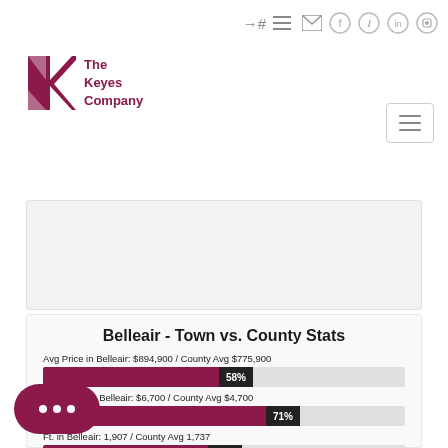[Figure (logo): The Keyes Company logo with red/maroon geometric K shape and text 'The Keyes Company']
Belleair - Town vs. County Stats
Avg Price in Belleair: $894,900 / County Avg $775,900
[Figure (bar-chart): Avg Price comparison]
Avg Taxes in Belleair: $6,700 / County Avg $4,700
[Figure (bar-chart): Avg Taxes comparison]
Ft. in Belleair: 1,907 / County Avg 1,737
[Figure (bar-chart): Avg Sq Ft comparison]